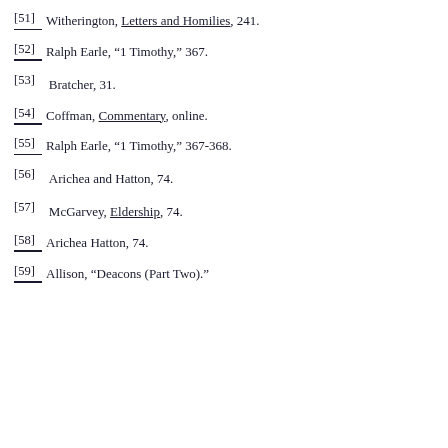[51] Witherington, Letters and Homilies, 241.
[52] Ralph Earle, “1 Timothy,” 367.
[53] Bratcher, 31.
[54] Coffman, Commentary, online.
[55] Ralph Earle, “1 Timothy,” 367-368.
[56] Arichea and Hatton, 74.
[57] McGarvey, Eldership, 74.
[58] Arichea Hatton, 74.
[59] Allison, “Deacons (Part Two).”